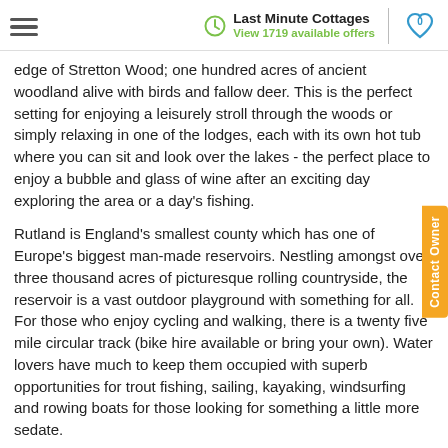Last Minute Cottages — View 1719 available offers
edge of Stretton Wood; one hundred acres of ancient woodland alive with birds and fallow deer. This is the perfect setting for enjoying a leisurely stroll through the woods or simply relaxing in one of the lodges, each with its own hot tub where you can sit and look over the lakes - the perfect place to enjoy a bubble and glass of wine after an exciting day exploring the area or a day's fishing.
Rutland is England's smallest county which has one of Europe's biggest man-made reservoirs. Nestling amongst over three thousand acres of picturesque rolling countryside, the reservoir is a vast outdoor playground with something for all. For those who enjoy cycling and walking, there is a twenty five mile circular track (bike hire available or bring your own). Water lovers have much to keep them occupied with superb opportunities for trout fishing, sailing, kayaking, windsurfing and rowing boats for those looking for something a little more sedate.
The famous Anglian Water Bird Watching Centre is a huge attraction for nature lovers and bird watchers, being the site